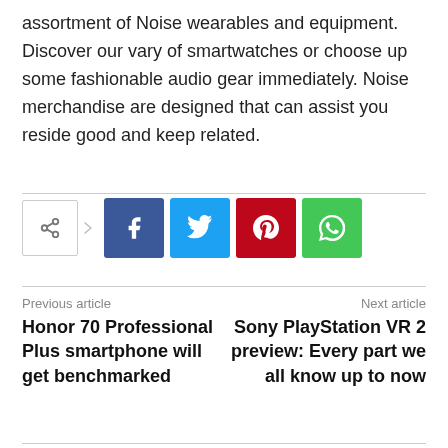assortment of Noise wearables and equipment. Discover our vary of smartwatches or choose up some fashionable audio gear immediately. Noise merchandise are designed that can assist you reside good and keep related.
[Figure (other): Social share buttons row: share icon button, Facebook, Twitter, Pinterest, WhatsApp]
Previous article
Honor 70 Professional Plus smartphone will get benchmarked
Next article
Sony PlayStation VR 2 preview: Every part we all know up to now